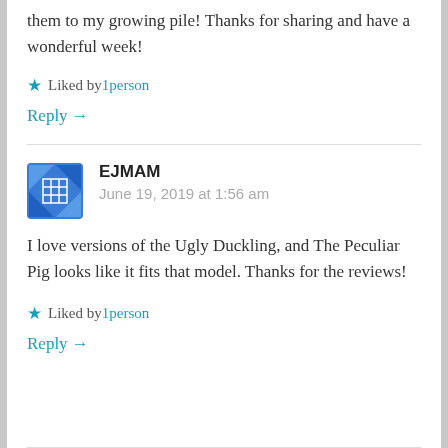them to my growing pile! Thanks for sharing and have a wonderful week!
Liked by 1person
Reply →
EJMAM
June 19, 2019 at 1:56 am
I love versions of the Ugly Duckling, and The Peculiar Pig looks like it fits that model. Thanks for the reviews!
Liked by 1person
Reply →